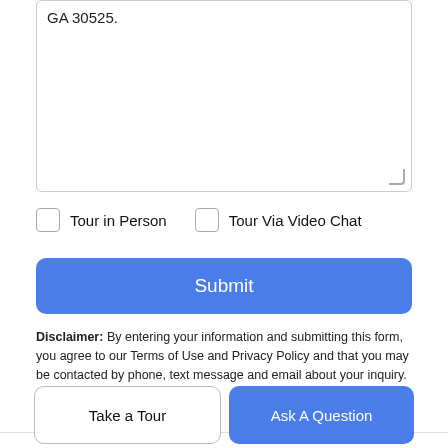GA 30525.
Tour in Person
Tour Via Video Chat
Submit
Disclaimer: By entering your information and submitting this form, you agree to our Terms of Use and Privacy Policy and that you may be contacted by phone, text message and email about your inquiry.
[Figure (logo): GAMLS IDX logo — blue text GAMLS with a house/roof icon above and IDX in an orange box with blue arrow]
© 2022 Georgia Multiple Listing Service, Inc. All rights reserved. The data relating to real estate for sale or lease on this web
Take a Tour
Ask A Question